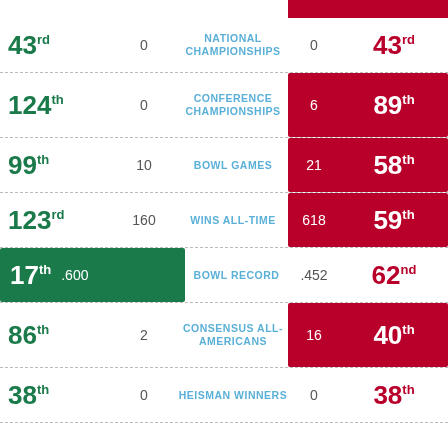| Rank (Team A) | Value (Team A) | Category | Value (Team B) | Rank (Team B) |
| --- | --- | --- | --- | --- |
| 43rd | 0 | NATIONAL CHAMPIONSHIPS | 0 | 43rd |
| 124th | 0 | CONFERENCE CHAMPIONSHIPS | 6 | 89th |
| 99th | 10 | BOWL GAMES | 21 | 58th |
| 123rd | 160 | WINS ALL-TIME | 618 | 59th |
| 17th | .600 | BOWL RECORD | .452 | 62nd |
| 86th | 2 | CONSENSUS ALL-AMERICANS | 16 | 40th |
| 38th | 0 | HEISMAN WINNERS | 0 | 38th |